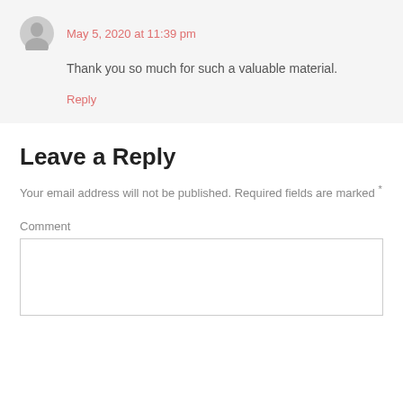May 5, 2020 at 11:39 pm
Thank you so much for such a valuable material.
Reply
Leave a Reply
Your email address will not be published. Required fields are marked *
Comment